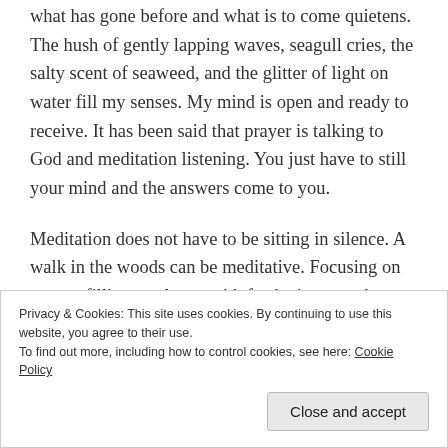what has gone before and what is to come quietens. The hush of gently lapping waves, seagull cries, the salty scent of seaweed, and the glitter of light on water fill my senses. My mind is open and ready to receive. It has been said that prayer is talking to God and meditation listening. You just have to still your mind and the answers come to you.
Meditation does not have to be sitting in silence. A walk in the woods can be meditative. Focusing on nature, filling our lungs with fresh air, ground us and calm the mind. If you are not a runner and find it hard to
Privacy & Cookies: This site uses cookies. By continuing to use this website, you agree to their use.
To find out more, including how to control cookies, see here: Cookie Policy
Close and accept